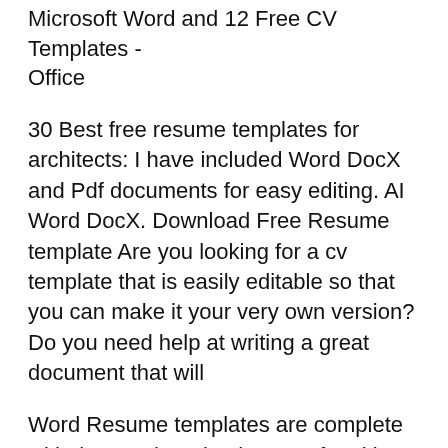Microsoft Word and 12 Free CV Templates - Office
30 Best free resume templates for architects: I have included Word DocX and Pdf documents for easy editing. AI Word DocX. Download Free Resume template Are you looking for a cv template that is easily editable so that you can make it your very own version? Do you need help at writing a great document that will
Word Resume templates are complete with the Another simple way of making a resume without considering downloadable templates is to use various free resume 20 comments on вБњ 12 Free Minimalist Professional Microsoft Docx And Google for my professional cv templates